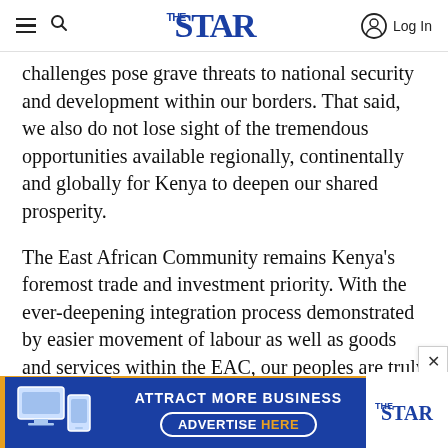THE STAR — navigation bar with hamburger menu, search icon, The Star logo, and Log In button
challenges pose grave threats to national security and development within our borders. That said, we also do not lose sight of the tremendous opportunities available regionally, continentally and globally for Kenya to deepen our shared prosperity.
The East African Community remains Kenya's foremost trade and investment priority. With the ever-deepening integration process demonstrated by easier movement of labour as well as goods and services within the EAC, our peoples are truly reaping the benefits of shared
[Figure (infographic): Blue advertisement banner for The Star newspaper reading ATTRACT MORE BUSINESS / ADVERTISE HERE with orange accent borders and The Star logo on the right, and device images on the left]